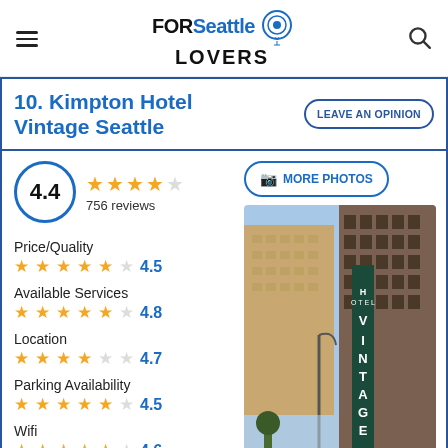FOR Seattle LOVERS
10. Kimpton Hotel Vintage Seattle
LEAVE AN OPINION
4.4 · 756 reviews
[Figure (photo): Exterior photo of Hotel Vintage Seattle showing the vertical VINTAGE sign on the building facade with city street view]
Price/Quality 4.5
Available Services 4.8
Location 4.7
Parking Availability 4.5
Wifi 4.6